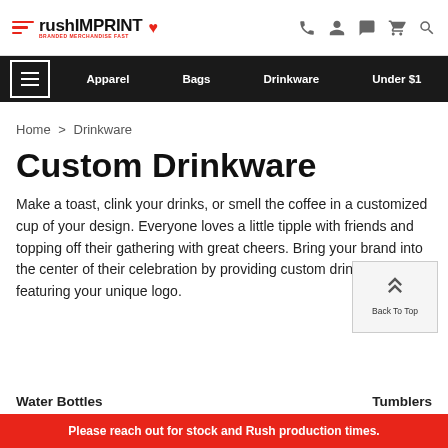rushIMPRINT BRANDED MERCHANDISE FAST
Apparel | Bags | Drinkware | Under $1
Home > Drinkware
Custom Drinkware
Make a toast, clink your drinks, or smell the coffee in a customized cup of your design. Everyone loves a little tipple with friends and topping off their gathering with great cheers. Bring your brand into the center of their celebration by providing custom drinkware featuring your unique logo.
Water Bottles
Tumblers
Please reach out for stock and Rush production times.